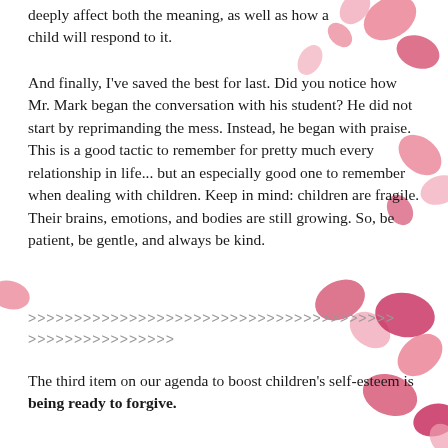deeply affect both the meaning, as well as how a child will respond to it.
And finally, I've saved the best for last. Did you notice how Mr. Mark began the conversation with his student? He did not start by reprimanding the mess. Instead, he began with praise. This is a good tactic to remember for pretty much every relationship in life... but an especially good one to remember when dealing with children. Keep in mind: children are fragile. Their brains, emotions, and bodies are still growing. So, be patient, be gentle, and always be kind.
>>>>>>>>>>>>>>>>>>>>>>>>>>>>>>>>>>>>>>>>
>>>>>>>>>>>>>>>>
The third item on our agenda to boost children's self-esteem is being ready to forgive.